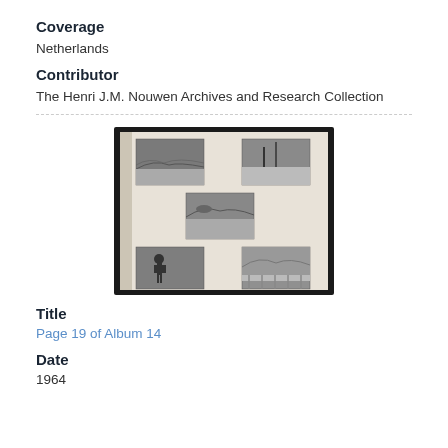Coverage
Netherlands
Contributor
The Henri J.M. Nouwen Archives and Research Collection
[Figure (photo): An open photo album showing five black-and-white photographs of landscapes and outdoor scenes arranged on a light-colored page with a dark cover/binding.]
Title
Page 19 of Album 14
Date
1964